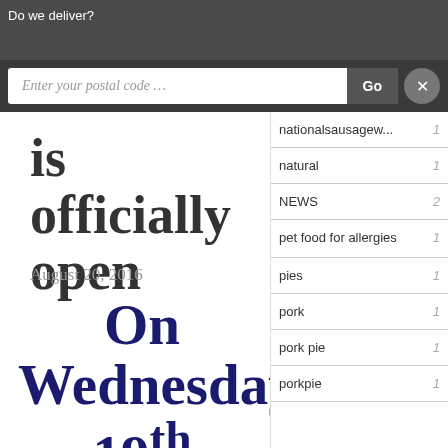Do we deliver?
Enter your postal code ...
is officially open
August 20, 2016
On Wednesday 19th August Sheila Dillon of the Food
mettricksbutchers 2
nationalsausagew... 1
natural 1
NEWS 2
pet food for allergies 1
pies 1
pork 1
pork pie 1
porkpie 1